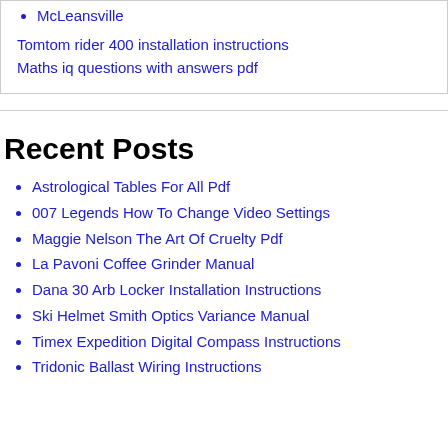McLeansville
Tomtom rider 400 installation instructions
Maths iq questions with answers pdf
Recent Posts
Astrological Tables For All Pdf
007 Legends How To Change Video Settings
Maggie Nelson The Art Of Cruelty Pdf
La Pavoni Coffee Grinder Manual
Dana 30 Arb Locker Installation Instructions
Ski Helmet Smith Optics Variance Manual
Timex Expedition Digital Compass Instructions
Tridonic Ballast Wiring Instructions